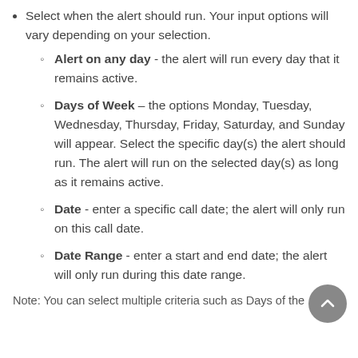Select when the alert should run. Your input options will vary depending on your selection.
Alert on any day - the alert will run every day that it remains active.
Days of Week - the options Monday, Tuesday, Wednesday, Thursday, Friday, Saturday, and Sunday will appear. Select the specific day(s) the alert should run. The alert will run on the selected day(s) as long as it remains active.
Date - enter a specific call date; the alert will only run on this call date.
Date Range - enter a start and end date; the alert will only run during this date range.
Note: You can select multiple criteria such as Days of the